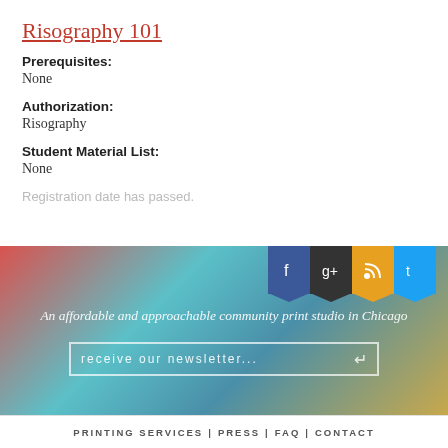Risography 101
Prerequisites:
None
Authorization:
Risography
Student Material List:
None
Registration date has passed.
[Figure (other): Footer banner with gradient background (red to teal to gold), social media icons (Facebook, Google+, RSS, Twitter), tagline text, and newsletter signup input.]
PRINTING SERVICES | PRESS | FAQ | CONTACT